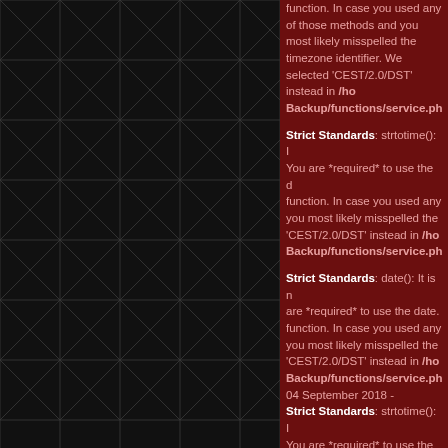[Figure (illustration): Dark background with a geometric triangular mesh/wireframe pattern rendered in dark grey lines on black background, covering the left portion of the page.]
function. In case you used any of those methods and you most likely misspelled the timezone identifier. We selected 'CEST/2.0/DST' instead in /home/.../Backup/functions/service.php
Strict Standards: strtotime(): It is not safe to rely on the system's timezone settings. You are *required* to use the date.timezone setting or the date_default_timezone_set() function. In case you used any of those methods and you most likely misspelled the timezone identifier. We selected 'CEST/2.0/DST' instead in /home/.../Backup/functions/service.php
Strict Standards: date(): It is not safe to rely on the system's timezone settings. You are *required* to use the date.timezone setting or the date_default_timezone_set() function. In case you used any of those methods and you most likely misspelled the timezone identifier. We selected 'CEST/2.0/DST' instead in /home/.../Backup/functions/service.php 04 September 2018 -
Strict Standards: strtotime(): It is not safe to rely on the system's timezone settings. You are *required* to use the date.timezone setting or the date_default_timezone_set() function. In case you used any of those methods and you most likely misspelled the timezone identifier. We selected 'CEST/2.0/DST' instead in /home/.../Backup/functions/service.php
Strict Standards: date(): It is not safe to rely on the system's timezone settings. You are *required* to use the date.timezone setting or the date_default_timezone_set() function. In case you used any of those methods and you most likely misspelled the timezone identifier. We selected 'CEST/2.0/DST' instead in